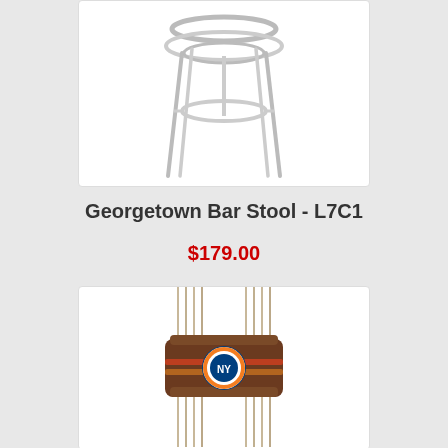[Figure (photo): Chrome bar stool with double ring base and four legs, no seat cushion, viewed from front angle]
Georgetown Bar Stool - L7C1
$179.00
[Figure (photo): Wall-mounted cue rack in dark wood with New York Islanders NHL team logo medallion in center, holding multiple billiard cues vertically]